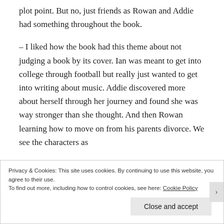plot point. But no, just friends as Rowan and Addie had something throughout the book.
– I liked how the book had this theme about not judging a book by its cover. Ian was meant to get into college through football but really just wanted to get into writing about music. Addie discovered more about herself through her journey and found she was way stronger than she thought. And then Rowan learning how to move on from his parents divorce. We see the characters as
Privacy & Cookies: This site uses cookies. By continuing to use this website, you agree to their use.
To find out more, including how to control cookies, see here: Cookie Policy
Close and accept